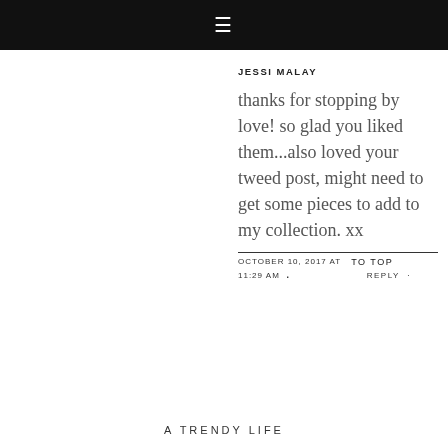≡
JESSI MALAY
thanks for stopping by love! so glad you liked them...also loved your tweed post, might need to get some pieces to add to my collection. xx
OCTOBER 10, 2017 AT 11:29 AM · TO TOP · REPLY ·
A TRENDY LIFE